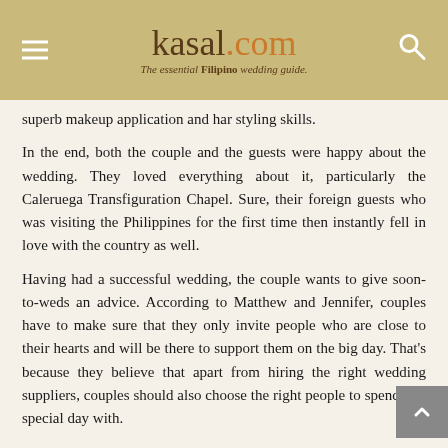kasal.com — The essential Filipino wedding guide
superb makeup application and har styling skills.
In the end, both the couple and the guests were happy about the wedding. They loved everything about it, particularly the Caleruega Transfiguration Chapel. Sure, their foreign guests who was visiting the Philippines for the first time then instantly fell in love with the country as well.
Having had a successful wedding, the couple wants to give soon-to-weds an advice. According to Matthew and Jennifer, couples have to make sure that they only invite people who are close to their hearts and will be there to support them on the big day. That's because they believe that apart from hiring the right wedding suppliers, couples should also choose the right people to spend that special day with.